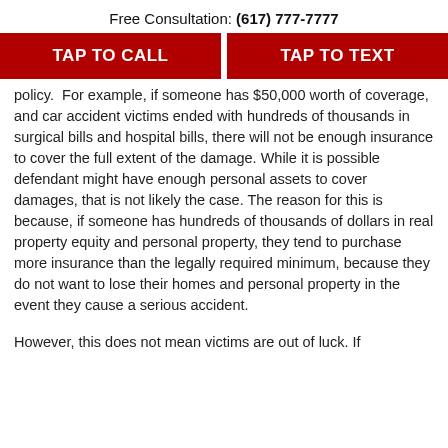Free Consultation: (617) 777-7777
TAP TO CALL
TAP TO TEXT
policy.  For example, if someone has $50,000 worth of coverage, and car accident victims ended with hundreds of thousands in surgical bills and hospital bills, there will not be enough insurance to cover the full extent of the damage. While it is possible defendant might have enough personal assets to cover damages, that is not likely the case. The reason for this is because, if someone has hundreds of thousands of dollars in real property equity and personal property, they tend to purchase more insurance than the legally required minimum, because they do not want to lose their homes and personal property in the event they cause a serious accident.
However, this does not mean victims are out of luck. If